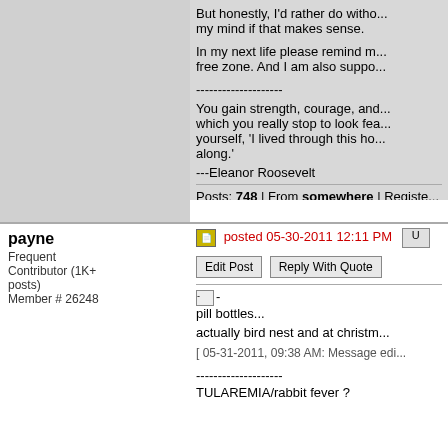But honestly, I'd rather do without... my mind if that makes sense.

In my next life please remind m... free zone. And I am also suppo...

--------------------
You gain strength, courage, and... which you really stop to look fea... yourself, 'I lived through this ho... along.'

---Eleanor Roosevelt
Posts: 748 | From somewhere | Registe...
payne
Frequent Contributor (1K+ posts)
Member # 26248
posted 05-30-2011 12:11 PM
Edit Post   Reply With Quote
[Figure (other): Broken image icon followed by text: pill bottles...]
actually bird nest and at christm...
[ 05-31-2011, 09:38 AM: Message edi...
--------------------
TULAREMIA/rabbit fever ?